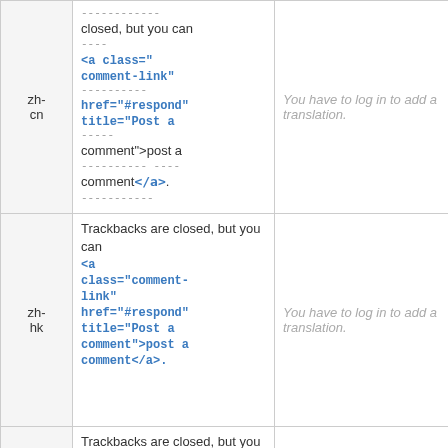| lang | source | translation | action |
| --- | --- | --- | --- |
| zh-cn | Trackbacks are closed, but you can <a class="comment-link" href="#respond" title="Post a comment">post a comment</a>. | You have to log in to add a translation. | Details |
| zh-hk | Trackbacks are closed, but you can <a class="comment-link" href="#respond" title="Post a comment">post a comment</a>. | You have to log in to add a translation. | Details |
| (partial) | Trackbacks are closed, but you can <a ... |  |  |